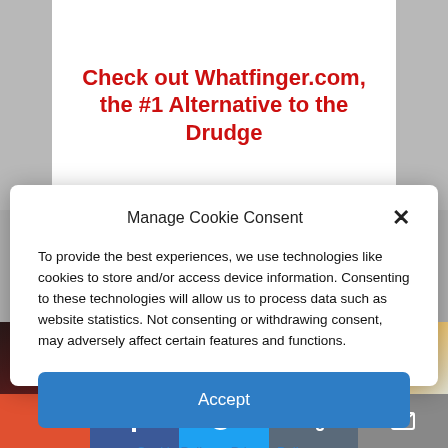Check out Whatfinger.com, the #1 Alternative to the Drudge
Manage Cookie Consent
To provide the best experiences, we use technologies like cookies to store and/or access device information. Consenting to these technologies will allow us to process data such as website statistics. Not consenting or withdrawing consent, may adversely affect certain features and functions.
Accept
Cookie Policy   Privacy Policy
[Figure (screenshot): Bottom navigation toolbar with plus, Facebook, Twitter, share, and email buttons]
[Figure (photo): Image strip showing food items — dark reddish item on left and spiced grain/seed in a bowl on right]